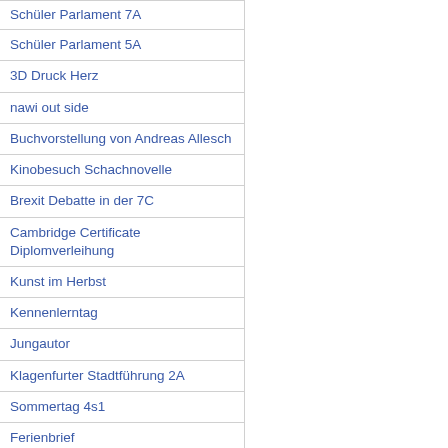| Schüler Parlament 7A (partial, top cut off) |
| Schüler Parlament 5A |
| 3D Druck Herz |
| nawi out side |
| Buchvorstellung von Andreas Allesch |
| Kinobesuch Schachnovelle |
| Brexit Debatte in der 7C |
| Cambridge Certificate Diplomverleihung |
| Kunst im Herbst |
| Kennenlerntag |
| Jungautor |
| Klagenfurter Stadtführung 2A |
| Sommertag 4s1 |
| Ferienbrief |
| 60 jähriges Maturatreffen |
| Holiday Booklet |
| Abschluss des Theaterjahr... (partial, bottom cut off) |